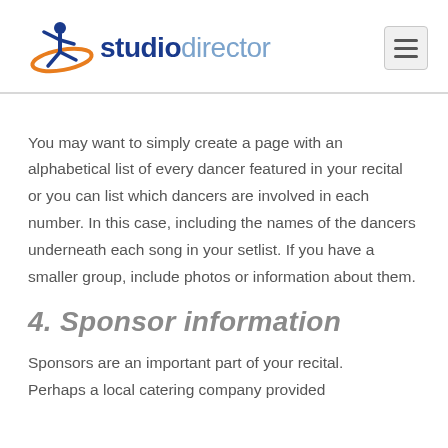[Figure (logo): Studio Director logo with a dancing figure icon and the words 'studio director' in blue and light blue]
You may want to simply create a page with an alphabetical list of every dancer featured in your recital or you can list which dancers are involved in each number. In this case, including the names of the dancers underneath each song in your setlist. If you have a smaller group, include photos or information about them.
4. Sponsor information
Sponsors are an important part of your recital. Perhaps a local catering company provided